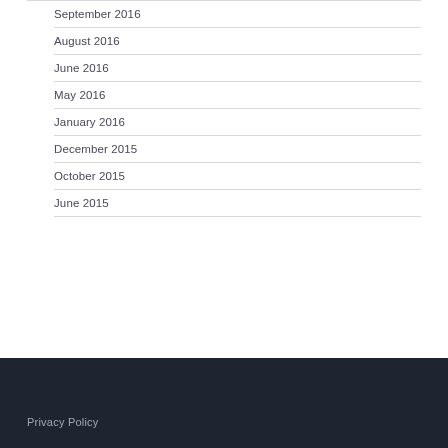September 2016
August 2016
June 2016
May 2016
January 2016
December 2015
October 2015
June 2015
Privacy Policy